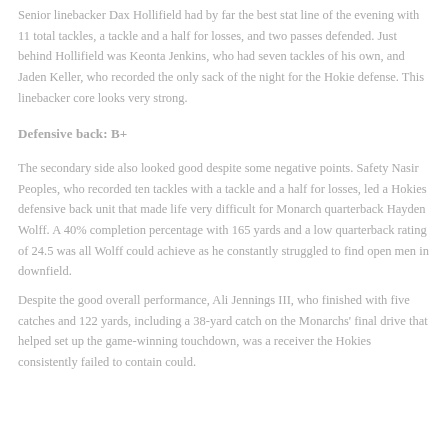Senior linebacker Dax Hollifield had by far the best stat line of the evening with 11 total tackles, a tackle and a half for losses, and two passes defended. Just behind Hollifield was Keonta Jenkins, who had seven tackles of his own, and Jaden Keller, who recorded the only sack of the night for the Hokie defense. This linebacker core looks very strong.
Defensive back: B+
The secondary side also looked good despite some negative points. Safety Nasir Peoples, who recorded ten tackles with a tackle and a half for losses, led a Hokies defensive back unit that made life very difficult for Monarch quarterback Hayden Wolff. A 40% completion percentage with 165 yards and a low quarterback rating of 24.5 was all Wolff could achieve as he constantly struggled to find open men in downfield.
Despite the good overall performance, Ali Jennings III, who finished with five catches and 122 yards, including a 38-yard catch on the Monarchs' final drive that helped set up the game-winning touchdown, was a receiver the Hokies consistently failed to contain could.